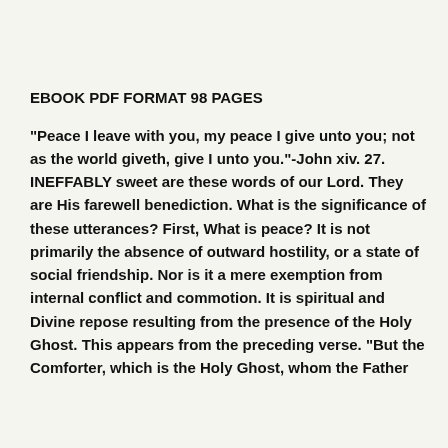EBOOK PDF FORMAT 98 PAGES
"Peace I leave with you, my peace I give unto you; not as the world giveth, give I unto you."-John xiv. 27. INEFFABLY sweet are these words of our Lord. They are His farewell benediction. What is the significance of these utterances? First, What is peace? It is not primarily the absence of outward hostility, or a state of social friendship. Nor is it a mere exemption from internal conflict and commotion. It is spiritual and Divine repose resulting from the presence of the Holy Ghost. This appears from the preceding verse. "But the Comforter, which is the Holy Ghost, whom the Father